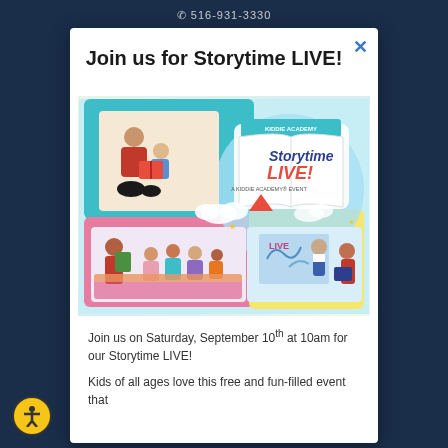516-931-3330
Join us for Storytime LIVE!
[Figure (illustration): Kiddie Academy Storytime LIVE event promotional image showing teachers reading to children, with colorful cartoon elements including birds, clouds, and a book graphic with 'Storytime LIVE! A Kiddie Academy Event' text]
Join us on Saturday, September 10th at 10am for our Storytime LIVE!
Kids of all ages love this free and fun-filled event that